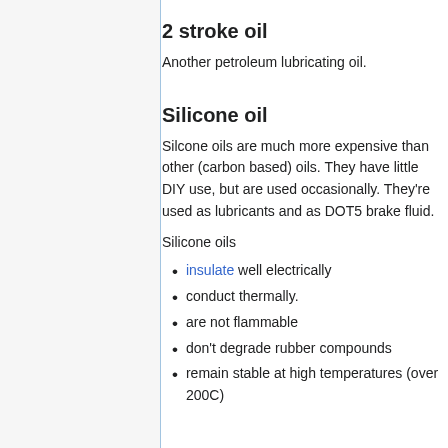2 stroke oil
Another petroleum lubricating oil.
Silicone oil
Silcone oils are much more expensive than other (carbon based) oils. They have little DIY use, but are used occasionally. They're used as lubricants and as DOT5 brake fluid.
Silicone oils
insulate well electrically
conduct thermally.
are not flammable
don't degrade rubber compounds
remain stable at high temperatures (over 200C)